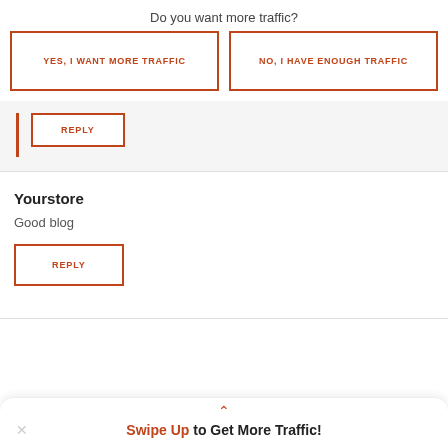Do you want more traffic?
YES, I WANT MORE TRAFFIC
NO, I HAVE ENOUGH TRAFFIC
REPLY
Yourstore
Good blog
REPLY
Swipe Up to Get More Traffic!